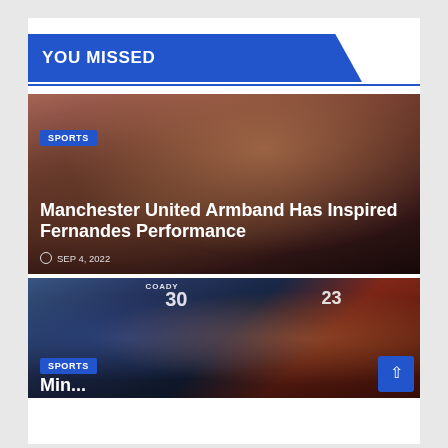YOU MISSED
[Figure (photo): Two Manchester United players in dark red jerseys close together, looking downward, crowd in background]
SPORTS
Manchester United Armband Has Inspired Fernandes Performance
SEP 4, 2022
[Figure (photo): Football match scene with Everton player number 30 COADY in blue and Liverpool player number 23 in red jersey]
SPORTS